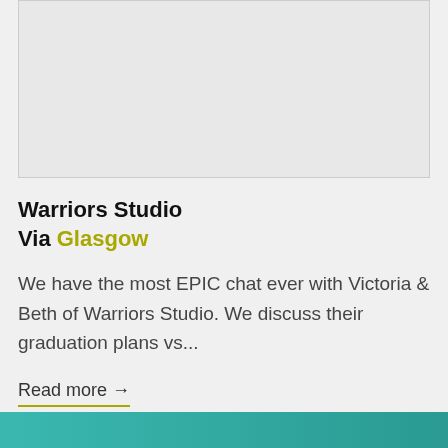[Figure (photo): Partially visible image placeholder at the top of the card]
Warriors Studio
Via Glasgow
We have the most EPIC chat ever with Victoria & Beth of Warriors Studio. We discuss their graduation plans vs...
Read more →
[Figure (photo): Teal/green colored bar or image at the bottom of the page]